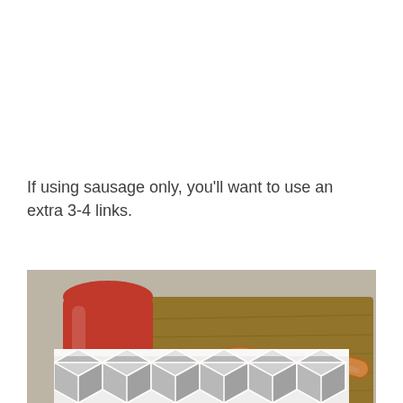If using sausage only, you'll want to use an extra 3-4 links.
[Figure (photo): Photo of a bologna/sausage product cut in half (cylindrical, red casing with pink meat visible) alongside several curved sausage links arranged on a wooden cutting board on a tiled surface.]
[Figure (illustration): Geometric hexagonal/diamond pattern in grey and white tones, partially visible at the bottom of the page.]